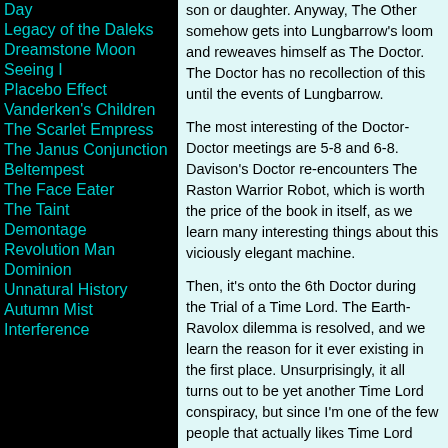Day
Legacy of the Daleks
Dreamstone Moon
Seeing I
Placebo Effect
Vanderken's Children
The Scarlet Empress
The Janus Conjunction
Beltempest
The Face Eater
The Taint
Demontage
Revolution Man
Dominion
Unnatural History
Autumn Mist
Interference
son or daughter. Anyway, The Other somehow gets into Lungbarrow's loom and reweaves himself as The Doctor. The Doctor has no recollection of this until the events of Lungbarrow.
The most interesting of the Doctor-Doctor meetings are 5-8 and 6-8. Davison's Doctor re-encounters The Raston Warrior Robot, which is worth the price of the book in itself, as we learn many interesting things about this viciously elegant machine.
Then, it's onto the 6th Doctor during the Trial of a Time Lord. The Earth-Ravolox dilemma is resolved, and we learn the reason for it ever existing in the first place. Unsurprisingly, it all turns out to be yet another Time Lord conspiracy, but since I'm one of the few people that actually likes Time Lord conspiracies, I didn't see that as a drawback.
If I was to cite the one major failure of this book, it would be this:
It's obviously written with the intention of introducing new readers from a new era of